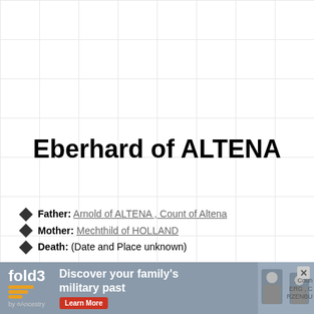Eberhard of ALTENA
Father: Arnold of ALTENA , Count of Altena
Mother: Mechthild of HOLLAND
Death: (Date and Place unknown)
Ancestors of Eberhard of ALTENA
[Figure (other): Fold3 by Ancestry advertisement banner: 'Discover your family's military past' with Learn More button and historical photo]